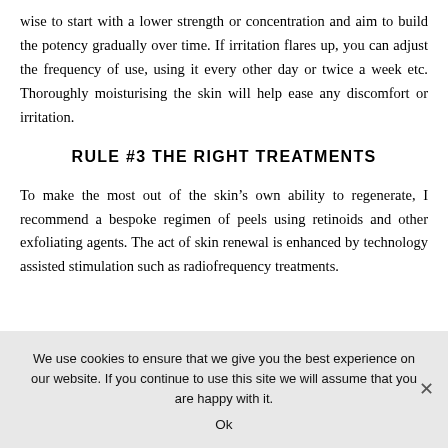wise to start with a lower strength or concentration and aim to build the potency gradually over time. If irritation flares up, you can adjust the frequency of use, using it every other day or twice a week etc. Thoroughly moisturising the skin will help ease any discomfort or irritation.
RULE #3 THE RIGHT TREATMENTS
To make the most out of the skin’s own ability to regenerate, I recommend a bespoke regimen of peels using retinoids and other exfoliating agents. The act of skin renewal is enhanced by technology assisted stimulation such as radiofrequency treatments.
We use cookies to ensure that we give you the best experience on our website. If you continue to use this site we will assume that you are happy with it.
Ok